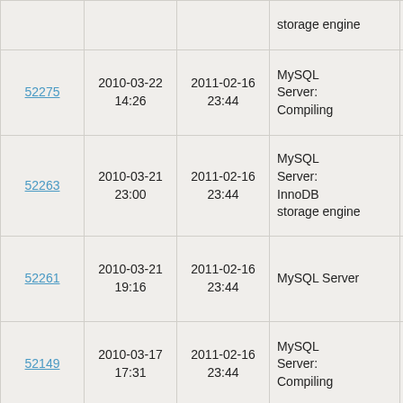| ID | Created | Modified | Category | Status | Sev | Summary |
| --- | --- | --- | --- | --- | --- | --- |
|  |  |  | storage engine | days) |  |  |
| 52275 | 2010-03-22 14:26 | 2011-02-16 23:44 | MySQL Server: Compiling | Closed (4281 days) | S3 | m ne |
| 52263 | 2010-03-21 23:00 | 2011-02-16 23:44 | MySQL Server: InnoDB storage engine | Closed (4335 days) | S3 | ne bu |
| 52261 | 2010-03-21 19:16 | 2011-02-16 23:44 | MySQL Server | Closed (4402 days) | S2 | ne bu |
| 52149 | 2010-03-17 17:31 | 2011-02-16 23:44 | MySQL Server: Compiling | Closed (4543 days) | S3 |  |
| 51896 | 2010-03-09 23:27 | 2011-02-16 23:44 | MySQL Server: Compiling | Closed (4410 days) | S3 | ne bu 6. bu |
| 51488 | 2010-02-25 8:18 | 2011-02-16 23:44 | MySQL Server: Compiling | Closed (4554 days) | S3 | 5. |